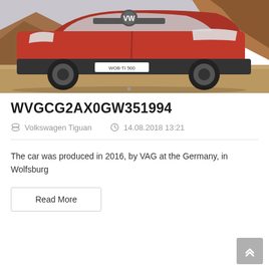[Figure (photo): Red Volkswagen Tiguan SUV parked on a dirt/sandy surface with rocky mountain background. License plate visible: WOB-TI 500.]
WVGCG2AX0GW351994
Volkswagen Tiguan   14.08.2018 13:21
The car was produced in 2016, by VAG at the Germany, in Wolfsburg
Read More